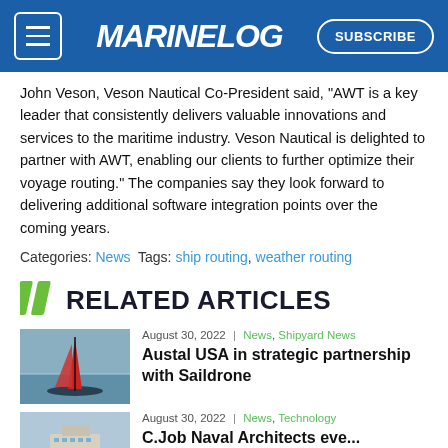MARINELOG | SUBSCRIBE
John Veson, Veson Nautical Co-President said, "AWT is a key leader that consistently delivers valuable innovations and services to the maritime industry. Veson Nautical is delighted to partner with AWT, enabling our clients to further optimize their voyage routing." The companies say they look forward to delivering additional software integration points over the coming years.
Categories: News Tags: ship routing, weather routing
// RELATED ARTICLES
[Figure (photo): Red sailboat/saildrone vessel on water]
August 30, 2022 | News, Shipyard News
Austal USA in strategic partnership with Saildrone
[Figure (photo): Large ship/ferry vessel on water]
August 30, 2022 | News, Technology
C.Job Naval Architects eve...